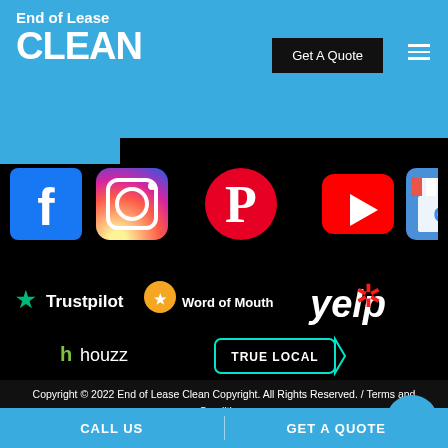End of Lease CLEAN — Get A Quote
[Figure (logo): Social media icons row: Facebook, Instagram, Pinterest, YouTube, Google My Business]
[Figure (logo): Review platform logos: Trustpilot, Word of Mouth, Yelp, houzz, True Local]
Copyright © 2022 End of Lease Clean Copyright. All Reserved. / Terms and Conditions
CALL US   GET A QUOTE